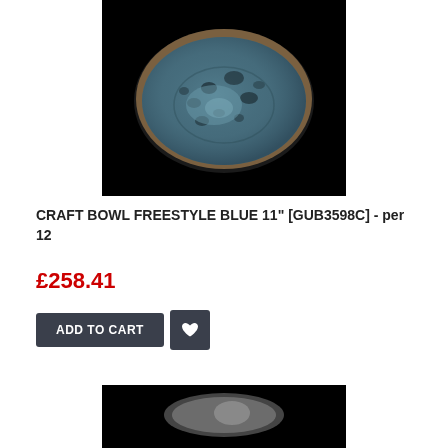[Figure (photo): Blue speckled ceramic craft bowl freestyle on black background, top view showing circular bowl with textured blue glaze]
CRAFT BOWL FREESTYLE BLUE 11" [GUB3598C] - per 12
£258.41
[Figure (photo): Partial product image of another ceramic bowl on black background, bottom portion cut off]